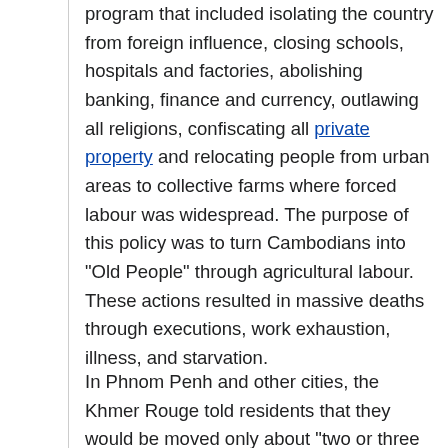program that included isolating the country from foreign influence, closing schools, hospitals and factories, abolishing banking, finance and currency, outlawing all religions, confiscating all private property and relocating people from urban areas to collective farms where forced labour was widespread. The purpose of this policy was to turn Cambodians into "Old People" through agricultural labour. These actions resulted in massive deaths through executions, work exhaustion, illness, and starvation.
In Phnom Penh and other cities, the Khmer Rouge told residents that they would be moved only about "two or three kilometers" outside the city and would return in "two or three days". Some witnesses say they were told that the evacuation was because of